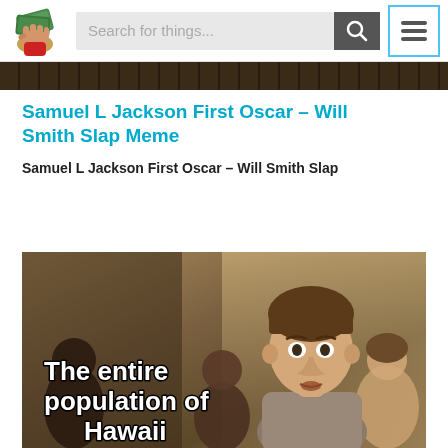[Figure (screenshot): Website header with a logo (hand holding money), search bar with placeholder 'Search for things...', search button with magnifying glass icon, and hamburger menu button with cyan border]
[Figure (photo): Dark decorative strip below header, resembling wood or dark textured bar]
Samuel L Jackson First Oscar – Will Smith Slap Meme
Samuel L Jackson First Oscar – Will Smith Slap
[Figure (illustration): Meme image showing a young man (Tobey Maguire from Spider-Man) looking surprised in a crowd, with white bold text overlay reading 'The entire population of Hawaii']